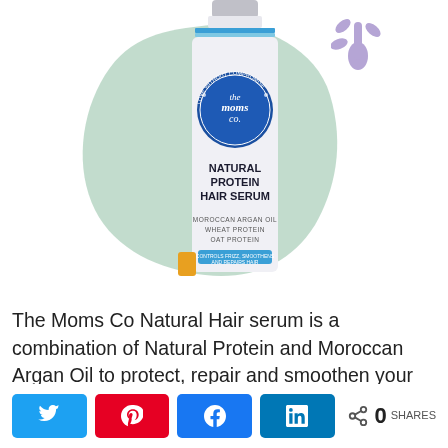[Figure (photo): The Moms Co Natural Protein Hair Serum product bottle on a white background with a mint green blob shape and purple decorative element behind it. The white bottle has a blue circular logo reading 'the moms co. LOVE WITHOUT COMPROMISE', text 'NATURAL PROTEIN HAIR SERUM', and ingredient labels 'MOROCCAN ARGAN OIL, WHEAT PROTEIN, OAT PROTEIN'.]
The Moms Co Natural Hair serum is a combination of Natural Protein and Moroccan Argan Oil to protect, repair and smoothen your hair. Natural hair